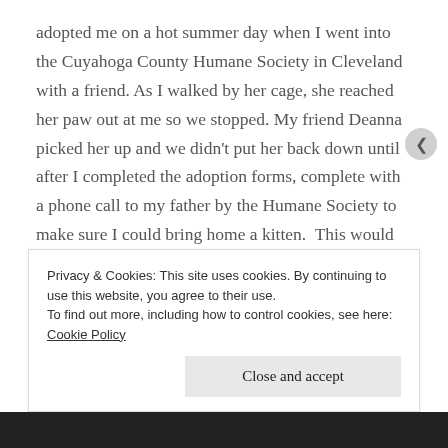adopted me on a hot summer day when I went into the Cuyahoga County Humane Society in Cleveland with a friend. As I walked by her cage, she reached her paw out at me so we stopped. My friend Deanna picked her up and we didn't put her back down until after I completed the adoption forms, complete with a phone call to my father by the Humane Society to make sure I could bring home a kitten.  This would be the last time that Annie allowed me to carry her around willingly.
Privacy & Cookies: This site uses cookies. By continuing to use this website, you agree to their use. To find out more, including how to control cookies, see here: Cookie Policy